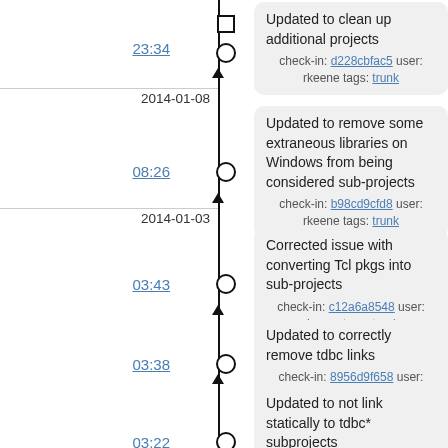23:34 — Updated to clean up additional projects — check-in: d228cbfac5 user: rkeene tags: trunk
2014-01-08 08:26 — Updated to remove some extraneous libraries on Windows from being considered sub-projects — check-in: b98cd9cfd8 user: rkeene tags: trunk
2014-01-03 03:43 — Corrected issue with converting Tcl pkgs into sub-projects — check-in: c12a6a8548 user: rkeene tags: trunk
03:38 — Updated to correctly remove tdbc links — check-in: 8956d9f658 user: rkeene tags: trunk
03:22 — Updated to not link statically to tdbc* subprojects — check-in: 053e812f4e user: rkeene tags: trunk
03:11 — Fixed bug in previous commit — check-in: a154a10e1c user: rkeene tags: trunk